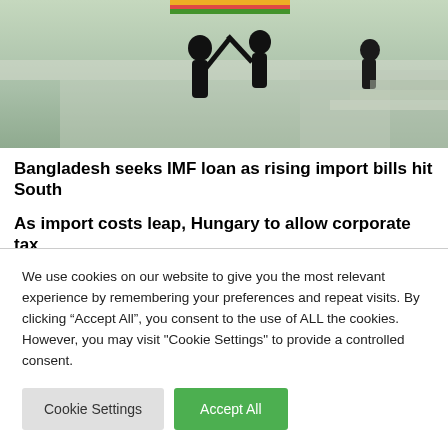[Figure (photo): Silhouette of people waving a colorful flag from a balcony or ledge, with a light-colored building in the background.]
Bangladesh seeks IMF loan as rising import bills hit South
As import costs leap, Hungary to allow corporate tax
Latest Developments in Ukraine: July 25
We use cookies on our website to give you the most relevant experience by remembering your preferences and repeat visits. By clicking “Accept All”, you consent to the use of ALL the cookies. However, you may visit "Cookie Settings" to provide a controlled consent.